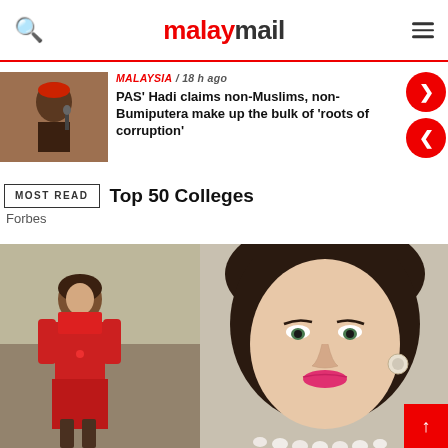malaymail
MALAYSIA / 18 h ago
PAS' Hadi claims non-Muslims, non-Bumiputera make up the bulk of 'roots of corruption'
MOST READ
Top 50 Colleges
Forbes
[Figure (photo): Two side-by-side photos of a woman: left shows her in a red dress standing, right is a close-up portrait showing her with pearl necklace and earrings.]